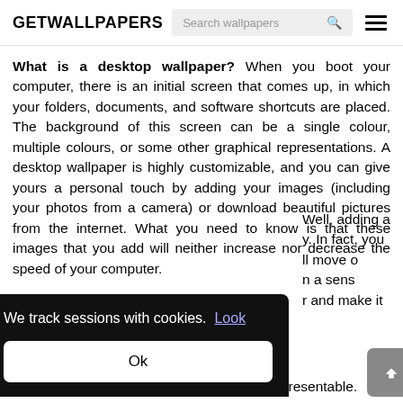GETWALLPAPERS
What is a desktop wallpaper? When you boot your computer, there is an initial screen that comes up, in which your folders, documents, and software shortcuts are placed. The background of this screen can be a single colour, multiple colours, or some other graphical representations. A desktop wallpaper is highly customizable, and you can give yours a personal touch by adding your images (including your photos from a camera) or download beautiful pictures from the internet. What you need to know is that these images that you add will neither increase nor decrease the speed of your computer.
[Figure (screenshot): Cookie consent banner overlay (dark background) with text 'We track sessions with cookies. Look' and an 'Ok' button. Partially overlapping text content visible to the right. A scroll-to-top button (chevron up, grey) is visible at the bottom right.]
Well, adding a wallpaper does not affect the performance of your computer. In fact, you may be setting up your desktop in a way that when you switch it on, it will move ou... In a sense, a wallpaper can tell a story about you and make it look aesthetically appealing and highly presentable.